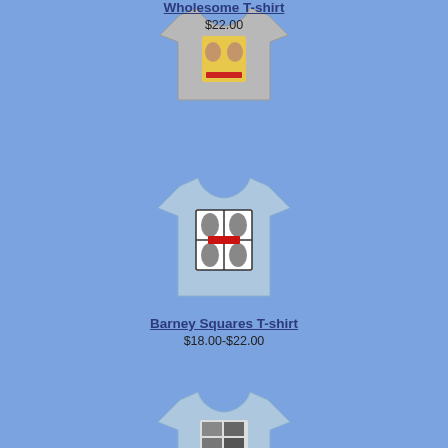[Figure (photo): Gray t-shirt with Andy Griffith graphic print on the front]
Wholesome T-shirt
$22.00
[Figure (photo): Light blue t-shirt with Barney Fife four-squares photo collage graphic]
Barney Squares T-shirt
$18.00-$22.00
[Figure (photo): Light blue t-shirt with black and white photo collage print on front]